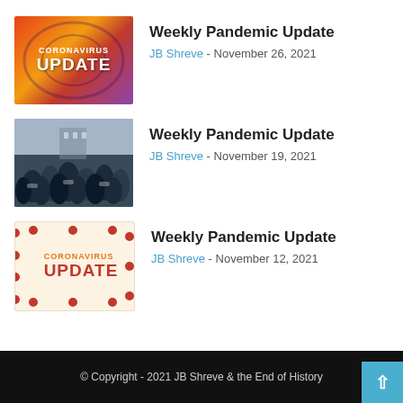[Figure (illustration): Coronavirus Update thumbnail with red/orange gradient background and white text]
Weekly Pandemic Update
JB Shreve - November 26, 2021
[Figure (photo): Photo of crowd of people wearing masks in urban setting]
Weekly Pandemic Update
JB Shreve - November 19, 2021
[Figure (illustration): Coronavirus Update thumbnail with cream/beige background, red dots border, orange and red text]
Weekly Pandemic Update
JB Shreve - November 12, 2021
© Copyright - 2021 JB Shreve & the End of History